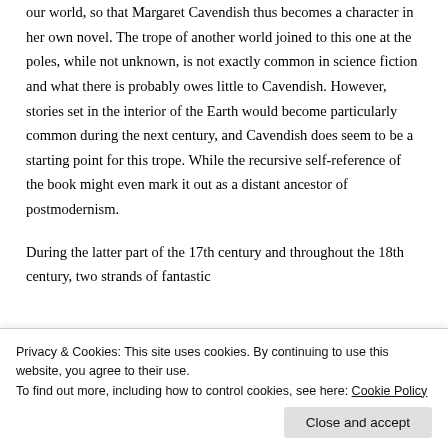our world, so that Margaret Cavendish thus becomes a character in her own novel. The trope of another world joined to this one at the poles, while not unknown, is not exactly common in science fiction and what there is probably owes little to Cavendish. However, stories set in the interior of the Earth would become particularly common during the next century, and Cavendish does seem to be a starting point for this trope. While the recursive self-reference of the book might even mark it out as a distant ancestor of postmodernism.
During the latter part of the 17th century and throughout the 18th century, two strands of fantastic
Privacy & Cookies: This site uses cookies. By continuing to use this website, you agree to their use.
To find out more, including how to control cookies, see here: Cookie Policy
Close and accept